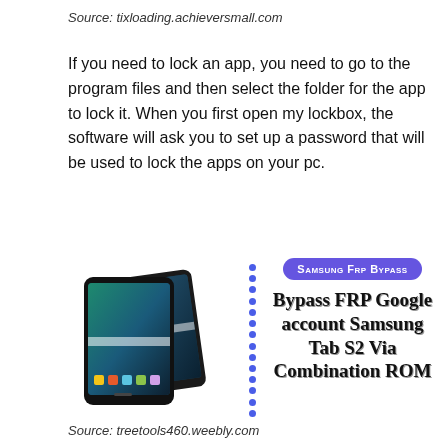Source: tixloading.achieversmall.com
If you need to lock an app, you need to go to the program files and then select the folder for the app to lock it. When you first open my lockbox, the software will ask you to set up a password that will be used to lock the apps on your pc.
[Figure (photo): Two Samsung tablets displayed alongside a badge reading 'Samsung Frp Bypass' and text 'Bypass FRP Google account Samsung Tab S2 Via Combination ROM', with a dotted blue vertical divider between the image and text.]
Source: treetools460.weebly.com